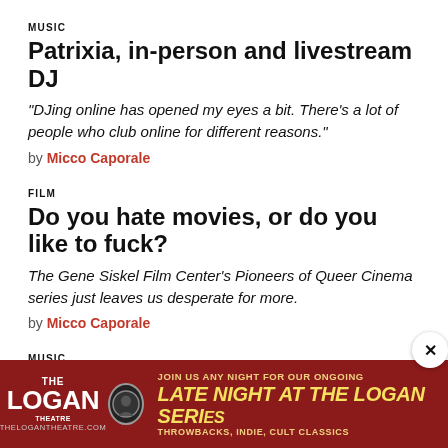MUSIC
Patrixia, in-person and livestream DJ
“DJing online has opened my eyes a bit. There’s a lot of people who club online for different reasons.”
by Micco Caporale
FILM
Do you hate movies, or do you like to fuck?
The Gene Siskel Film Center’s Pioneers of Queer Cinema series just leaves us desperate for more.
by Micco Caporale
MUSIC
Goregrind monsters Organ Failure deliver 17 tracks in 15 minutes on their album debut
Plus: Ava Cherry discusses her music memoir with scholar and critic Aaron Cohen, and rapper Sol Patches shares heartfelt new experiments on Ordinary Circles.
by J.R. Nelson and Leor Galil
[Figure (other): Advertisement for The Logan Theatre: JOIN US ANY NIGHT FOR OUR ONGOING LATE NIGHT AT THE LOGAN SERIES – THROWBACKS, INDIE, CULT CLASSICS. THELOGANTHEATRE.COM]